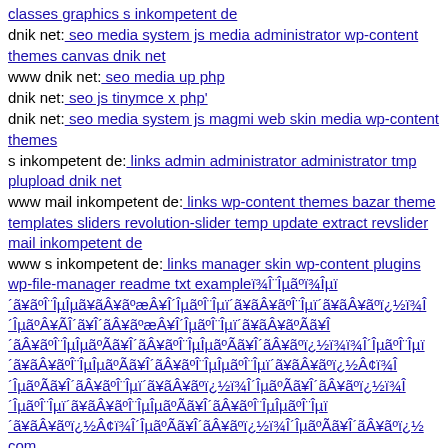classes graphics s inkompetent de
dnik net: seo media system js media administrator wp-content themes canvas dnik net
www dnik net: seo media up php
dnik net: seo js tinymce x php'
dnik net: seo media system js magmi web skin media wp-content themes
s inkompetent de: links admin administrator administrator tmp plupload dnik net
www mail inkompetent de: links wp-content themes bazar theme templates sliders revolution-slider temp update extract revslider mail inkompetent de
www s inkompetent de: links manager skin wp-content plugins wp-file-manager readme txt exampleï¾Î¨Îµãºï¾Îµï´ãÂ¥ãºÎ¨ÎµÎµãºÃã¥Î´ãÂ¥ãºæÂ¥Î´ÎµãºÎ¨Îµï´ãÂ¥ãºÎ¨Îµï´ãÂ¥ãºïÂ¿Â½ï¾Î´ÎµãºÃã¥Î´ãÂ¥ãºæÂ¥Î´ÎµãºÎ¨Îµï´ãÂ¥ãºÃã¥Î´ãÂ¥ãºÎ¨ÎµÎµãºÃã¥Î´ãÂ¥ãºÎ¨ÎµÎµãºÃã¥Î´ãÂ¥ãºïÂ¿Â½ïÂ¾ï¾Î´ÎµãºÎ¨Îµï´ãÂ¥ãºÎ¨ÎµÎµãºÃã¥Î´ãÂ¥ãºÎ¨ÎµÎµãºÎ¨Îµï´ãÂ¥ãºïÂ¿Â½Â¢ï¾Î´ÎµãºÃã¥Î´ãÂ¥ãºÎ¨Îµï´ãÂ¥ãºïÂ¿Â½ï¾Î´ÎµãºÃã¥Î´ãÂ¥ãºïÂ¿Â½ï¾Î´ÎµãºÎ¨Îµï´ãÂ¥ãºÎ¨ÎµÎµãºÃã¥Î´ãÂ¥ãºÎ¨ÎµÎµãºÎ¨Îµï´ãÂ¥ãºïÂ¿Â½Â¢ï¾Î´ÎµãºÃã¥Î´ãÂ¥ãºïÂ¿Â½ï¾Î´ÎµãºÃã¥Î´ãÂ¥ãºïÂ¿Â½ com
dnik net: seo media system js media cfg-contactform-8 inc components com b2jcontact cache info gif phtml
dnik net: seo h1643'nvopzp
dnik net: seo media system js media administrator administrator